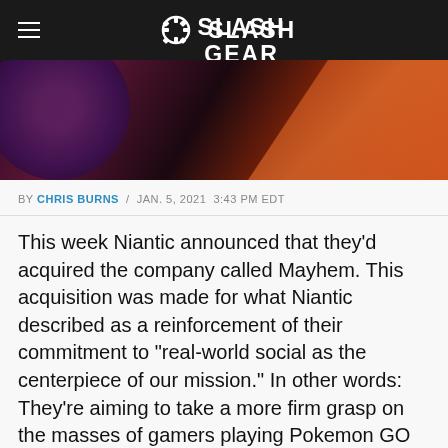SlashGear
[Figure (photo): Hero banner image with dark purple and orange/red tones, circular shape on left]
BY CHRIS BURNS / JAN. 5, 2021 3:43 PM EDT
This week Niantic announced that they'd acquired the company called Mayhem. This acquisition was made for what Niantic described as a reinforcement of their commitment to "real-world social as the centerpiece of our mission." In other words: They're aiming to take a more firm grasp on the masses of gamers playing Pokemon GO out there in the real world.
[Figure (photo): Photo of two people against a blue sky background]